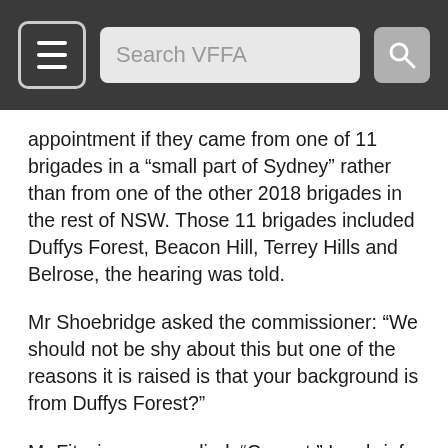Search VFFA
appointment if they came from one of 11 brigades in a “small part of Sydney” rather than from one of the other 2018 brigades in the rest of NSW. Those 11 brigades included Duffys Forest, Beacon Hill, Terrey Hills and Belrose, the hearing was told.
Mr Shoebridge asked the commissioner: “We should not be shy about this but one of the reasons it is raised is that your background is from Duffys Forest?”
Mr Fitzsimmons replied: “Correct.” In a brief exchange Mr Shoebridge responded: “You say there is nothing to see here but I think there is. I am after your systemic response.” Mr Fitzsimmons: “I do not have anything other than coincidence.” Mr Shoebridge: “It is a bloody lot of coincidence, commissioner.” Mr